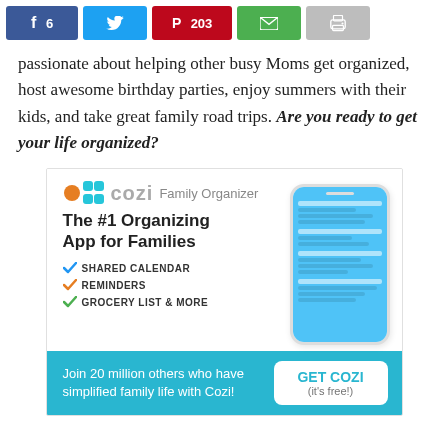[Figure (other): Social sharing bar with Facebook (f 6), Twitter (bird icon), Pinterest (P 203), Email (envelope), and Print (printer) buttons]
passionate about helping other busy Moms get organized, host awesome birthday parties, enjoy summers with their kids, and take great family road trips. Are you ready to get your life organized?
[Figure (infographic): Cozi Family Organizer advertisement. Shows Cozi logo with orange and teal icons, tagline 'The #1 Organizing App for Families', checkmarks for SHARED CALENDAR, REMINDERS, GROCERY LIST & MORE, a phone mockup showing the app, and a bottom bar saying 'Join 20 million others who have simplified family life with Cozi!' with a GET COZI (it's free!) button.]